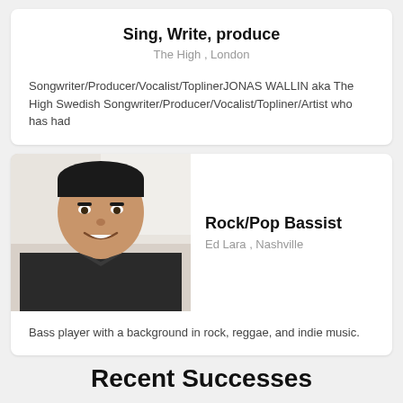Sing, Write, produce
The High , London
Songwriter/Producer/Vocalist/ToplinerJONAS WALLIN aka The High Swedish Songwriter/Producer/Vocalist/Topliner/Artist who has had
[Figure (photo): Portrait photo of a smiling man, Ed Lara]
Rock/Pop Bassist
Ed Lara , Nashville
Bass player with a background in rock, reggae, and indie music.
Recent Successes